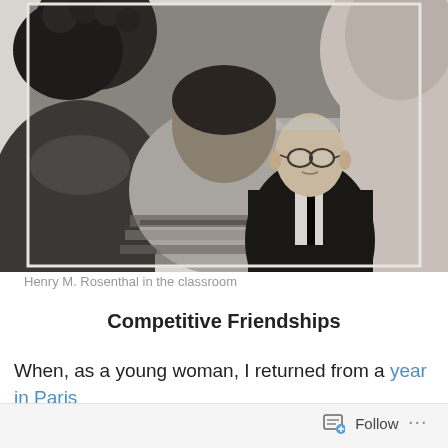[Figure (photo): Black and white photograph of Henry M. Rosenthal sitting in a classroom, facing the camera. Two students are visible from behind in the foreground, with a chalkboard behind the professor.]
Henry M. Rosenthal in the classroom
Competitive Friendships
When, as a young woman, I returned from a year in Paris
Follow ...